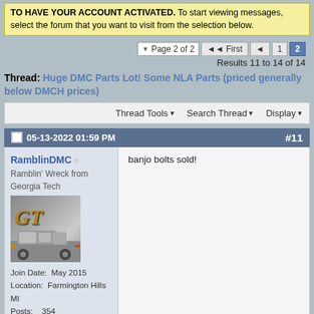TO HAVE YOUR ACCOUNT ACTIVATED. To start viewing messages, select the forum that you want to visit from the selection below.
Page 2 of 2  First  ◄  1  2  Results 11 to 14 of 14
Thread: Huge DMC Parts Lot! Some NLA Parts (priced generally below DMCH prices)
Thread Tools ▾  Search Thread ▾  Display ▾
05-13-2022 01:59 PM  #11
RamblinDMC
Ramblin' Wreck from Georgia Tech
Join Date: May 2015
Location: Farmington Hills MI
Posts: 354
My VIN: 2203
Club(s): (SEDOC)(DCUK)
banjo bolts sold!
Reply With Quote